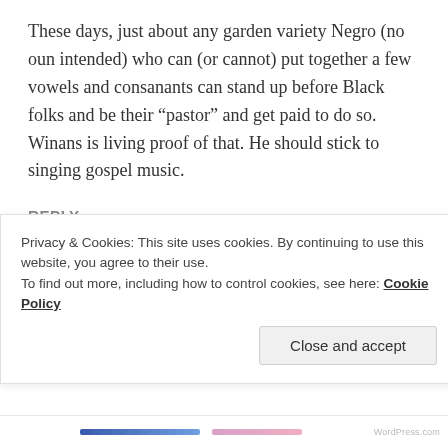These days, just about any garden variety Negro (no oun intended) who can (or cannot) put together a few vowels and consanants can stand up before Black folks and be their “pastor” and get paid to do so. Winans is living proof of that. He should stick to singing gospel music.
REPLY
SANDRA
Privacy & Cookies: This site uses cookies. By continuing to use this website, you agree to their use.
To find out more, including how to control cookies, see here: Cookie Policy
Close and accept